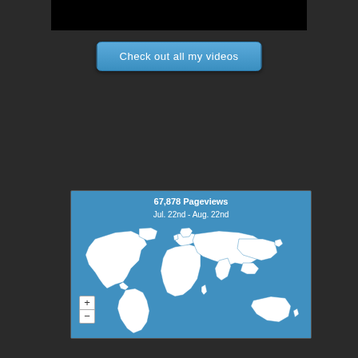[Figure (screenshot): Black bar at top representing a video thumbnail]
Check out all my videos
[Figure (map): World map showing 67,878 Pageviews from Jul. 22nd - Aug. 22nd with countries highlighted in white on a blue background]